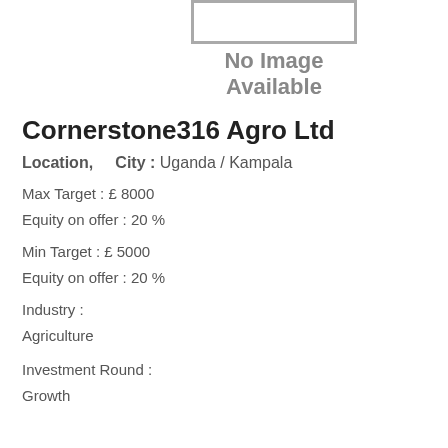[Figure (other): No Image Available placeholder box with border and text]
Cornerstone316 Agro Ltd
Location,    City : Uganda / Kampala
Max Target : £ 8000
Equity on offer : 20 %
Min Target : £ 5000
Equity on offer : 20 %
Industry :
Agriculture
Investment Round :
Growth